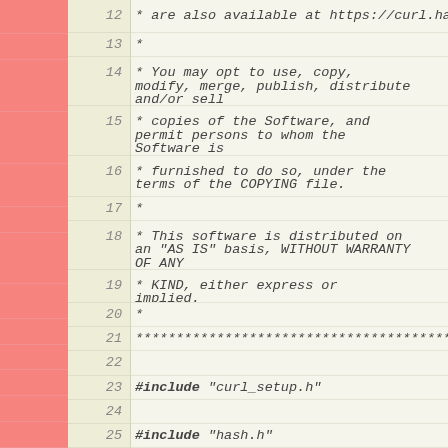Source code viewer showing lines 12-25 of a C source file with copyright/license header and include directives
12  * are also available at https://curl.haxx.se/docs/copyright
13  *
14  * You may opt to use, copy, modify, merge, publish, distribute and/or sell
15  * copies of the Software, and permit persons to whom the Software is
16  * furnished to do so, under the terms of the COPYING file.
17  *
18  * This software is distributed on an "AS IS" basis, WITHOUT WARRANTY OF ANY
19  * KIND, either express or implied.
20  *
21  *******************************************...
22
23  #include "curl_setup.h"
24
25  #include "hash.h"